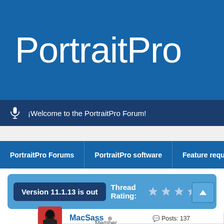PortraitPro
¡Welcome to the PortraitPro Forum!
PortraitPro Forums | PortraitPro software | Feature reque...
Version 11.1.13 is out   Thread Rating: ★ ★ ★ ★ ★
MacSass  Member   Posts: 137   Threads: 33